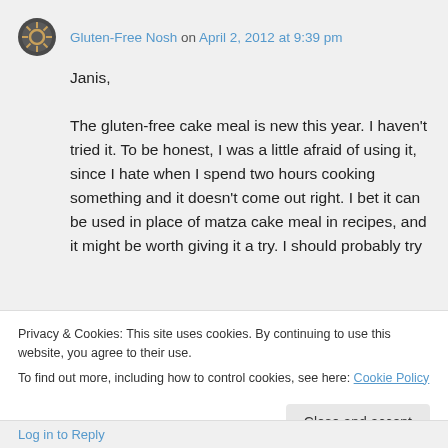Gluten-Free Nosh on April 2, 2012 at 9:39 pm
Janis,
The gluten-free cake meal is new this year. I haven't tried it. To be honest, I was a little afraid of using it, since I hate when I spend two hours cooking something and it doesn't come out right. I bet it can be used in place of matza cake meal in recipes, and it might be worth giving it a try. I should probably try
Privacy & Cookies: This site uses cookies. By continuing to use this website, you agree to their use.
To find out more, including how to control cookies, see here: Cookie Policy
Close and accept
Log in to Reply